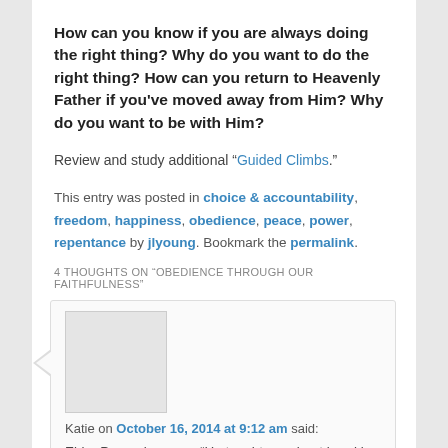How can you know if you are always doing the right thing? Why do you want to do the right thing? How can you return to Heavenly Father if you've moved away from Him? Why do you want to be with Him?
Review and study additional “Guided Climbs.”
This entry was posted in choice & accountability, freedom, happiness, obedience, peace, power, repentance by jlyoung. Bookmark the permalink.
4 THOUGHTS ON “OBEDIENCE THROUGH OUR FAITHFULNESS”
Katie on October 16, 2014 at 9:12 am said:
Elder Perry also says, “He taught me about breaking in a team of horses so that they would work together. He explained that a team of horses